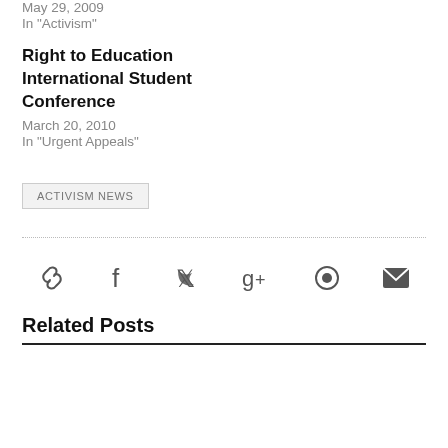May 29, 2009
In "Activism"
Right to Education International Student Conference
March 20, 2010
In "Urgent Appeals"
Activism News
[Figure (other): Social share icons row: link, facebook, twitter, google+, pinterest, email]
Related Posts